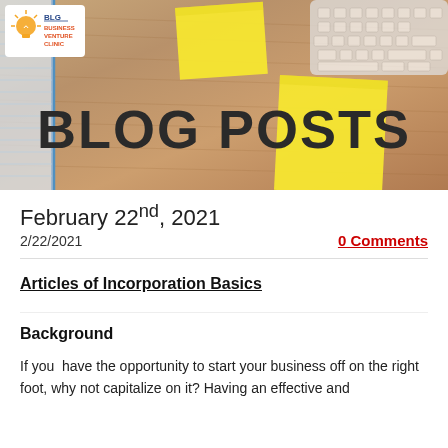[Figure (photo): Header banner showing a wooden desk surface with yellow sticky notes and a computer keyboard in the top-right corner. A blue notebook is visible on the left edge. Text 'BLOG POSTS' overlaid in large bold dark letters.]
BLOG POSTS
[Figure (logo): BLG Business Venture Clinic logo with lightbulb icon in orange and blue]
February 22nd, 2021
2/22/2021
0 Comments
Articles of Incorporation Basics
Background
If you have the opportunity to start your business off on the right foot, why not capitalize on it? Having an effective and